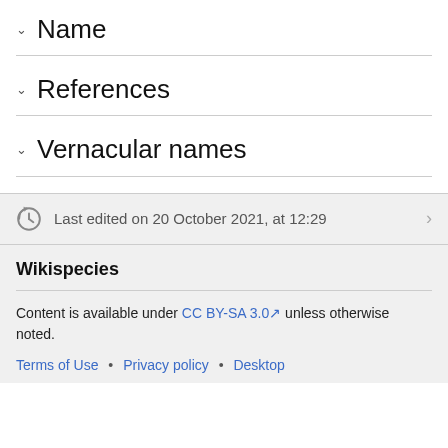Name
References
Vernacular names
Last edited on 20 October 2021, at 12:29
Wikispecies
Content is available under CC BY-SA 3.0 unless otherwise noted.
Terms of Use • Privacy policy • Desktop